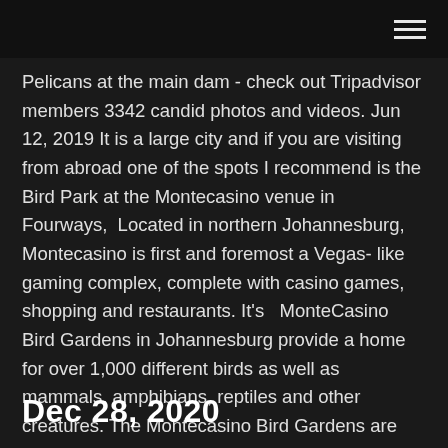[hamburger menu icon]
Pelicans at the main dam - check out Tripadvisor members 3342 candid photos and videos. Jun 12, 2019 It is a large city and if you are visiting from abroad one of the spots I recommend is the Bird Park at the Montecasino venue in Fourways,  Located in northern Johannesburg, Montecasino is first and foremost a Vegas- like gaming complex, complete with casino games, shopping and restaurants. It's  MonteCasino Bird Gardens in Johannesburg provide a home for over 1,000 different birds as well as mammals, amphibians, reptiles and other creatures. The Montecasino Bird Gardens are the only bird park of its kind in Africa and Jo' burg's best kept secret. A paradise of colourful.
Dec 28, 2020